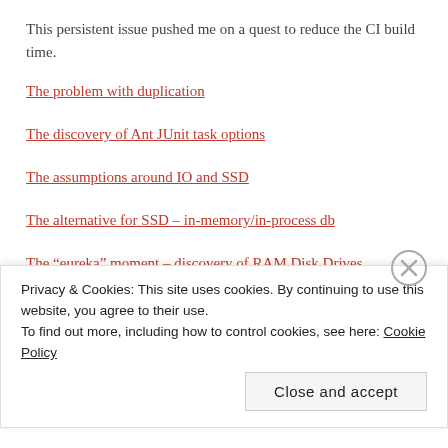This persistent issue pushed me on a quest to reduce the CI build time.
The problem with duplication
The discovery of Ant JUnit task options
The assumptions around IO and SSD
The alternative for SSD – in-memory/in-process db
The “eureka” moment – discovery of RAM Disk Drives
Privacy & Cookies: This site uses cookies. By continuing to use this website, you agree to their use.
To find out more, including how to control cookies, see here: Cookie Policy
Close and accept